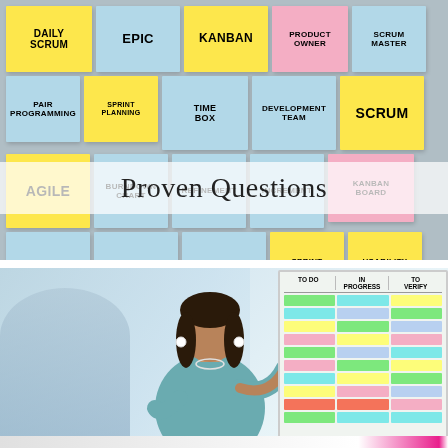[Figure (photo): Colorful sticky notes on a wall/board with agile methodology terms: DAILY SCRUM, EPIC, KANBAN, PRODUCT OWNER, SCRUM MASTER, PAIR PROGRAMMING, SPRINT PLANNING, TIME BOX, DEVELOPMENT TEAM, SCRUM, AGILE, BURNDOWN CHART, REFINEMENT, INCREMENT, KANBAN BOARD, SLICER, STAKEHOLDER, FACILITATION, SPRINT REVIEW, USABILITY TESTING, TEAM WORK, TECHNICAL DEBT, and more. A hand is visible placing a sticky note.]
Proven Questions
[Figure (photo): A woman in a teal/grey top presenting at a Kanban/agile board covered with colorful sticky notes organized in columns: TO DO, IN PROGRESS, and DONE. Office environment with glass walls in background.]